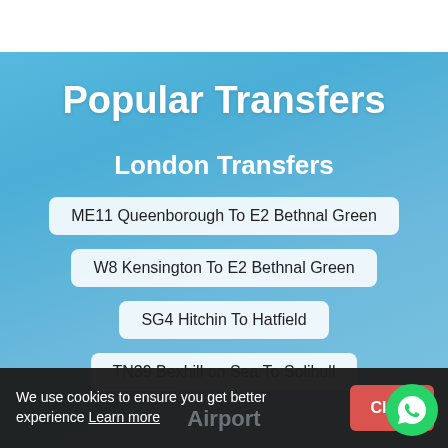Popular Transfers
London Transfers
ME11 Queenborough To E2 Bethnal Green
W8 Kensington To E2 Bethnal Green
SG4 Hitchin To Hatfield
TN39 Bexhill on Sea To Solihull
We use cookies to ensure you get better experience Learn more
Airport
Close